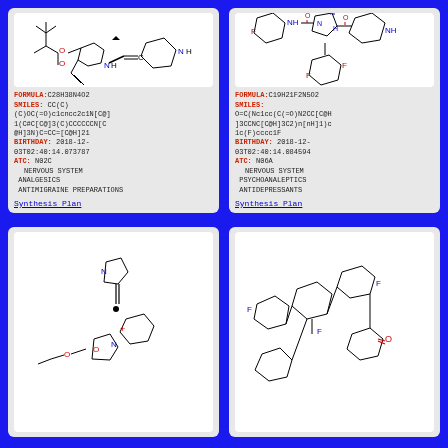[Figure (illustration): Chemical structure drawing of compound C28H38N4O2 (antimigraine drug), showing a tert-butyl ester group connected to a piperazine ring system with a vinyl chain]
FORMULA: C28H38N4O2
SMILES: CC(C)(C)OC(=O)c1cncc2c1N[C@]1(C#C[C@]3(C)CCCCCCN[C@H]3N)C=CC=[C@H]21
BIRTHDAY: 2018-12-03T02:40:14.073787
ATC: N02C
  NERVOUS SYSTEM
  ANALGESICS
  ANTIMIGRAINE PREPARATIONS
Synthesis Plan
[Figure (illustration): Chemical structure drawing of compound C19H21F2N5O2, showing a fluorobenzene ring connected to a bicyclic lactam system with piperazine (antidepressant)]
FORMULA: C19H21F2N5O2
SMILES: O=C(Nc1cc(C(=O)N2CC[C@H]3CCNC[C@H]3C2)n[nH]1)c1c(F)cccc1F
BIRTHDAY: 2018-12-03T02:40:14.084594
ATC: N06A
  NERVOUS SYSTEM
  PSYCHOANALEPTICS
  ANTIDEPRESSANTS
Synthesis Plan
[Figure (illustration): Chemical structure drawing of a compound featuring a pyrrole ring connected via alkyne to a benzene ring with an ethoxy group and an isoxazole moiety]
[Figure (illustration): Chemical structure drawing of a compound with multiple fluorinated benzene rings connected to a bicyclic ketone system]